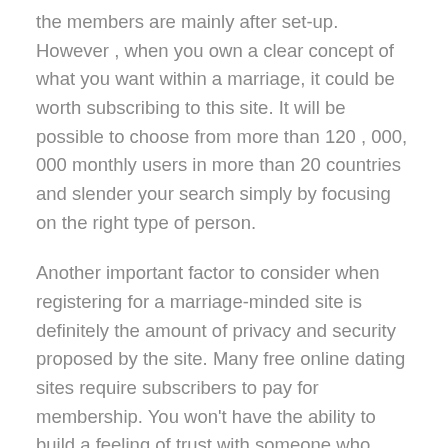the members are mainly after set-up. However , when you own a clear concept of what you want within a marriage, it could be worth subscribing to this site. It will be possible to choose from more than 120 , 000, 000 monthly users in more than 20 countries and slender your search simply by focusing on the right type of person.
Another important factor to consider when registering for a marriage-minded site is definitely the amount of privacy and security proposed by the site. Many free online dating sites require subscribers to pay for membership. You won't have the ability to build a feeling of trust with someone who leaves cell phone numbers and is looking for a one-off, frivolous meeting instead of a relationship. This also causes it to be difficult to build a solid